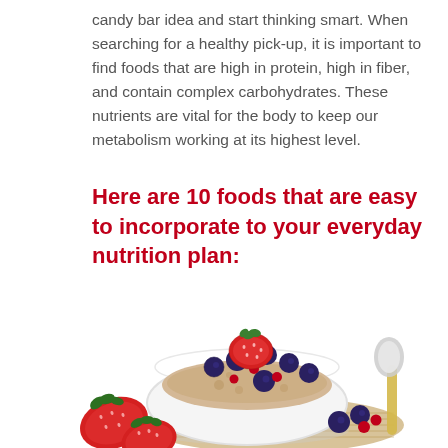candy bar idea and start thinking smart. When searching for a healthy pick-up, it is important to find foods that are high in protein, high in fiber, and contain complex carbohydrates. These nutrients are vital for the body to keep our metabolism working at its highest level.
Here are 10 foods that are easy to incorporate to your everyday nutrition plan:
[Figure (photo): A bowl of oatmeal topped with strawberries, blueberries, and red currants, placed on a burlap mat with a spoon on the side and a whole strawberry in the foreground.]